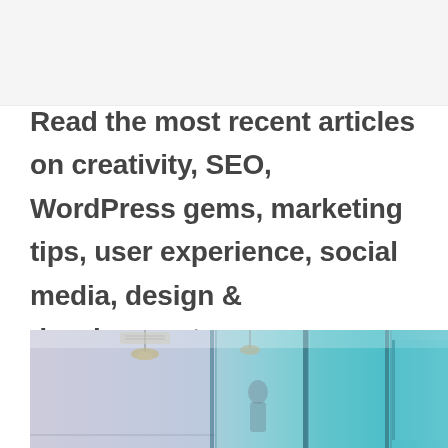Read the most recent articles on creativity, SEO, WordPress gems, marketing tips, user experience, social media, design & development.
[Figure (photo): Interior office or studio space with glass panels and teal/mint colored walls, pendant lamps visible on ceiling, person partially visible in background]